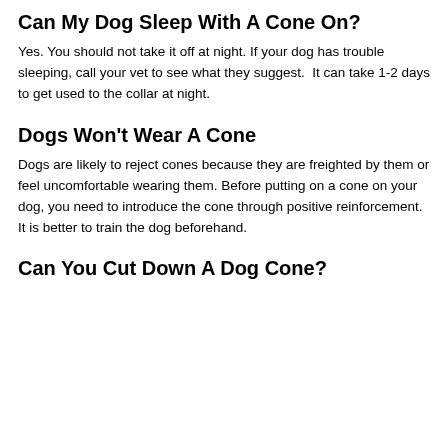Can My Dog Sleep With A Cone On?
Yes. You should not take it off at night. If your dog has trouble sleeping, call your vet to see what they suggest.  It can take 1-2 days to get used to the collar at night.
Dogs Won't Wear A Cone
Dogs are likely to reject cones because they are freighted by them or feel uncomfortable wearing them. Before putting on a cone on your dog, you need to introduce the cone through positive reinforcement. It is better to train the dog beforehand.
Can You Cut Down A Dog Cone?